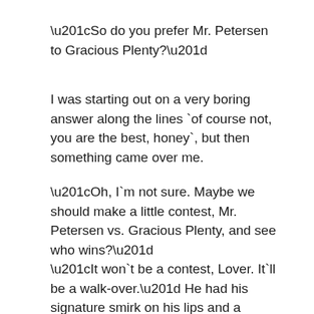“So do you prefer Mr. Petersen to Gracious Plenty?”
I was starting out on a very boring answer along the lines `of course not, you are the best, honey`, but then something came over me.
“Oh, I`m not sure. Maybe we should make a little contest, Mr. Petersen vs. Gracious Plenty, and see who wins?”
“It won`t be a contest, Lover. It`ll be a walk-over.” He had his signature smirk on his lips and a second later I was bouncing on my bed.